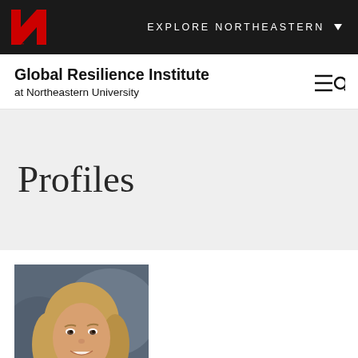EXPLORE NORTHEASTERN
Global Resilience Institute at Northeastern University
Profiles
[Figure (photo): Headshot of a woman with blonde hair, smiling, professional portrait]